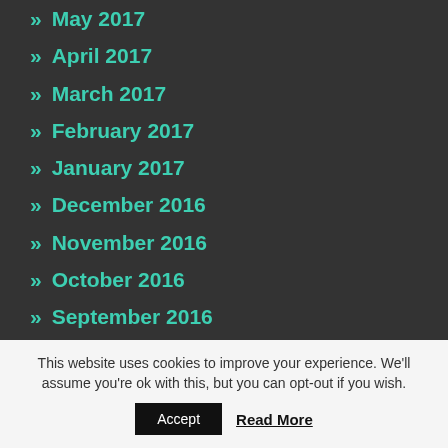» May 2017
» April 2017
» March 2017
» February 2017
» January 2017
» December 2016
» November 2016
» October 2016
» September 2016
» August 2016
» July 2016
This website uses cookies to improve your experience. We'll assume you're ok with this, but you can opt-out if you wish. Accept Read More